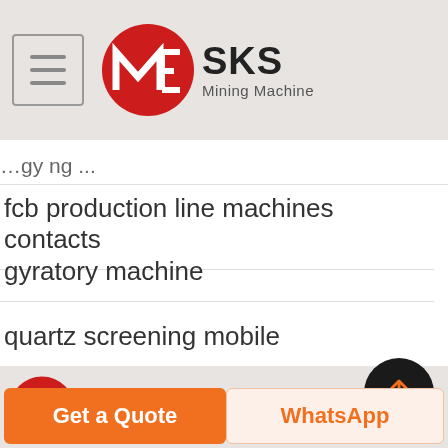SKS Mining Machine
fcb production line machines contacts
gyratory machine
quartz screening mobile
[Figure (logo): SKS Mining Machine logo - partial red circle with white M and E letters, SKS text, Mining Machine subtitle]
Get a Quote
WhatsApp